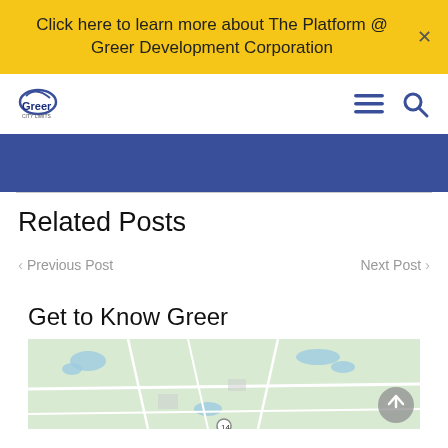Click here to learn more about The Platform @ Greer Development Corporation
[Figure (logo): Greer logo with stylized swoosh and 'Greer' text]
[Figure (screenshot): Navigation bar with hamburger menu and search icon]
[Figure (other): Dark blue decorative banner bar]
Related Posts
< Previous Post
Next Post >
Get to Know Greer
[Figure (map): Google Map showing Greer area with roads, water features, and green terrain]